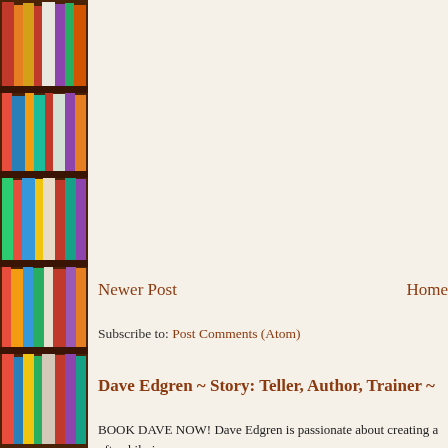[Figure (photo): Bookshelf with colorful books on wooden shelves visible on the left side of the page]
Newer Post    Home
Subscribe to: Post Comments (Atom)
Dave Edgren ~ Story: Teller, Author, Trainer ~
BOOK DAVE NOW! Dave Edgren is passionate about creating a often hilarious way,...
[Figure (photo): Side profile photo of a dark-haired man against a blue background]